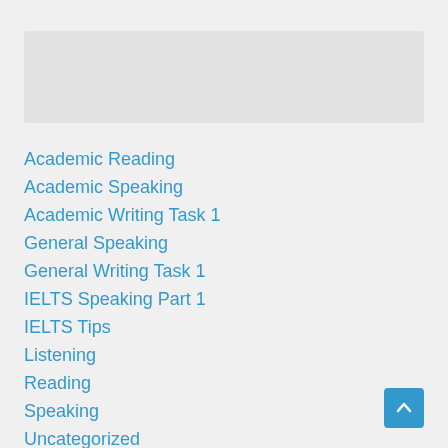[Figure (other): Gray placeholder box at the top of the page]
Academic Reading
Academic Speaking
Academic Writing Task 1
General Speaking
General Writing Task 1
IELTS Speaking Part 1
IELTS Tips
Listening
Reading
Speaking
Uncategorized